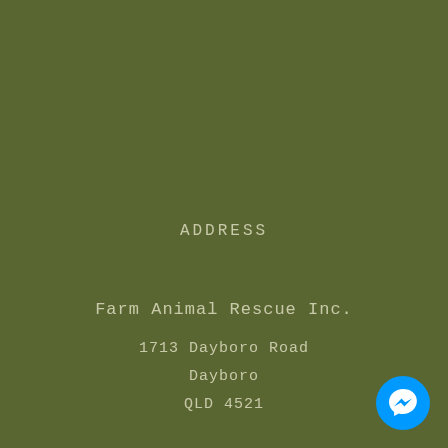ADDRESS
Farm Animal Rescue Inc.
1713 Dayboro Road
Dayboro
QLD 4521
[Figure (logo): Facebook Messenger blue circle icon button in bottom-right corner]